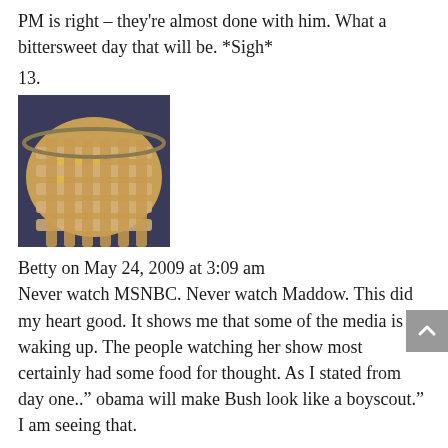PM is right – they're almost done with him. What a bittersweet day that will be. *Sigh*
13.
[Figure (photo): A pie with a lattice-woven bacon or pastry crust top, viewed from above in a baking dish.]
Betty on May 24, 2009 at 3:09 am
Never watch MSNBC. Never watch Maddow. This did my heart good. It shows me that some of the media is waking up. The people watching her show most certainly had some food for thought. As I stated from day one.." obama will make Bush look like a boyscout." I am seeing that.
14.